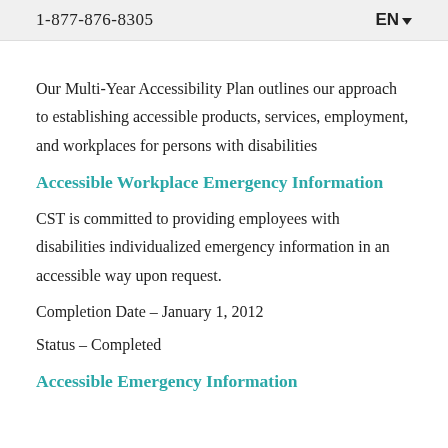1-877-876-8305   EN▼
Our Multi-Year Accessibility Plan outlines our approach to establishing accessible products, services, employment, and workplaces for persons with disabilities
Accessible Workplace Emergency Information
CST is committed to providing employees with disabilities individualized emergency information in an accessible way upon request.
Completion Date – January 1, 2012
Status – Completed
Accessible Emergency Information